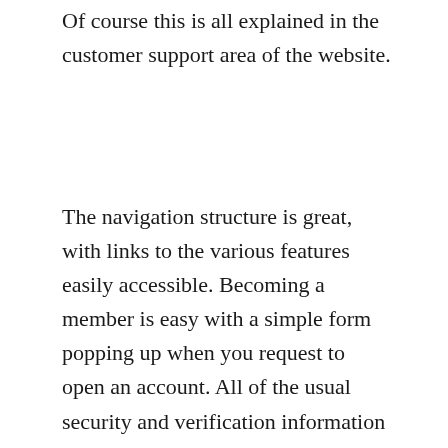Of course this is all explained in the customer support area of the website.
The navigation structure is great, with links to the various features easily accessible. Becoming a member is easy with a simple form popping up when you request to open an account. All of the usual security and verification information is required, and you will receive a phone call to validate your membership and open an account. It is good to know that Stan James bookmaker is also looking after customer security.